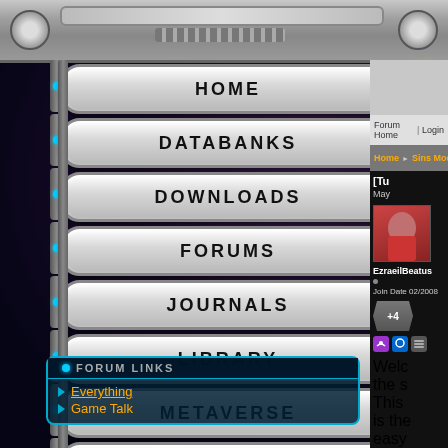[Figure (screenshot): Sci-fi themed website navigation with metallic button panel on left showing: Home, Databanks, Downloads, Forums, Journals, Library, Metaverse, Screen Shots, Community, Purchase. Forum Links sidebar at bottom left. Right side shows forum content with breadcrumb navigation: Forum Home | Login, Home > Sins Modding, user EzraeilBeatus with avatar, Join Date 02/2008, +4 reputation, and partial post text.]